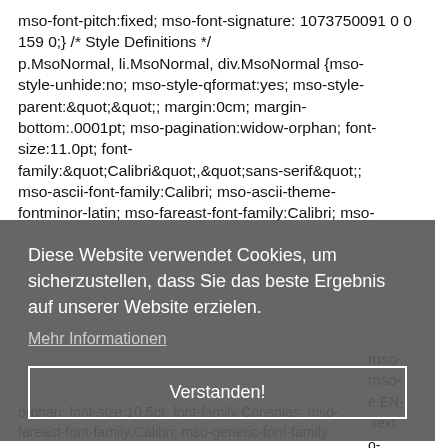mso-font-pitch:fixed; mso-font-signature: 1073750091 0 0 159 0;} /* Style Definitions */ p.MsoNormal, li.MsoNormal, div.MsoNormal {mso-style-unhide:no; mso-style-qformat:yes; mso-style-parent:&quot;&quot;; margin:0cm; margin-bottom:.0001pt; mso-pagination:widow-orphan; font-size:11.0pt; font-family:&quot;Calibri&quot;,&quot;sans-serif&quot;; mso-ascii-font-family:Calibri; mso-ascii-theme-fontminor-latin; mso-fareast-font-family:Calibri; mso-
Diese Website verwendet Cookies, um sicherzustellen, dass Sie das beste Ergebnis auf unserer Website erzielen.
Mehr Informationen
Verstanden!
orphan; font-size:10.5pt; font-family:Consolas; mso-fareast-font-family:Calibri; mso-generic-font-family: